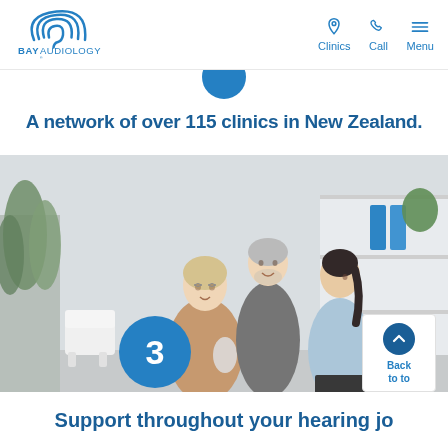Bay Audiology — Clinics | Call | Menu
A network of over 115 clinics in New Zealand.
[Figure (photo): Two elderly patients (a woman in a tan coat and a man in a grey jacket) speaking with a young female audiologist in a light blue blouse, inside a modern clinic reception area with shelving, plants, and office furniture.]
3
Support throughout your hearing jo…